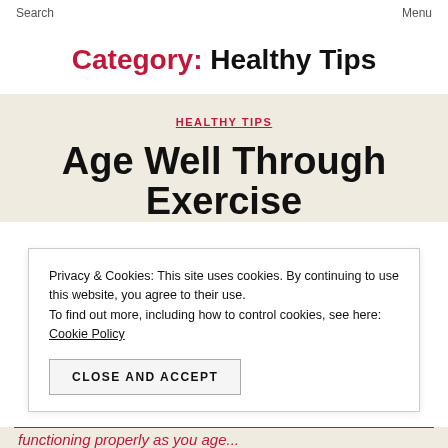Search   Menu
Category: Healthy Tips
HEALTHY TIPS
Age Well Through Exercise
Privacy & Cookies: This site uses cookies. By continuing to use this website, you agree to their use. To find out more, including how to control cookies, see here: Cookie Policy
CLOSE AND ACCEPT
functioning properly as you age...